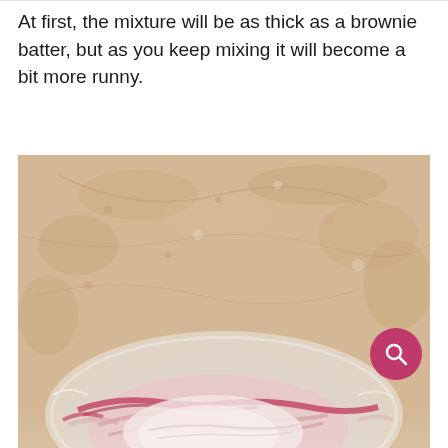At first, the mixture will be as thick as a brownie batter, but as you keep mixing it will become a bit more runny.
[Figure (photo): Top-down view of a glass mixing bowl containing thick pink/red batter mixture, placed on a tan/beige stone or marble surface. A pink magnifying glass search button overlay appears in the bottom right corner of the image.]